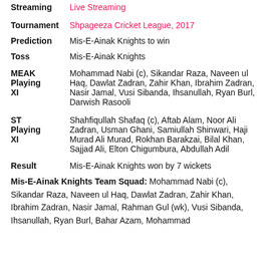Streaming   Live Streaming
Tournament   Shpageeza Cricket League, 2017
Prediction   Mis-E-Ainak Knights to win
Toss   Mis-E-Ainak Knights
MEAK Playing XI   Mohammad Nabi (c), Sikandar Raza, Naveen ul Haq, Dawlat Zadran, Zahir Khan, Ibrahim Zadran, Nasir Jamal, Vusi Sibanda, Ihsanullah, Ryan Burl, Darwish Rasooli
ST Playing XI   Shahfiqullah Shafaq (c), Aftab Alam, Noor Ali Zadran, Usman Ghani, Samiullah Shinwari, Haji Murad Ali Murad, Rokhan Barakzai, Bilal Khan, Sajjad Ali, Elton Chigumbura, Abdullah Adil
Result   Mis-E-Ainak Knights won by 7 wickets
Mis-E-Ainak Knights Team Squad: Mohammad Nabi (c), Sikandar Raza, Naveen ul Haq, Dawlat Zadran, Zahir Khan, Ibrahim Zadran, Nasir Jamal, Rahman Gul (wk), Vusi Sibanda, Ihsanullah, Ryan Burl, Bahar Azam, Mohammad